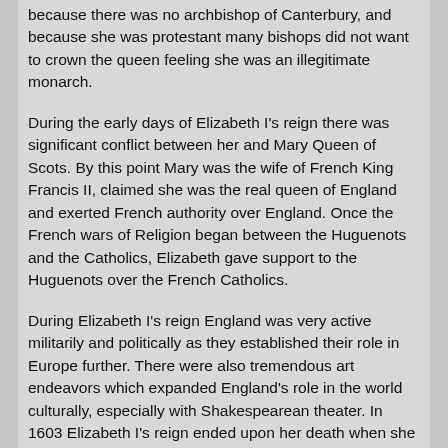because there was no archbishop of Canterbury, and because she was protestant many bishops did not want to crown the queen feeling she was an illegitimate monarch.
During the early days of Elizabeth I's reign there was significant conflict between her and Mary Queen of Scots. By this point Mary was the wife of French King Francis II, claimed she was the real queen of England and exerted French authority over England. Once the French wars of Religion began between the Huguenots and the Catholics, Elizabeth gave support to the Huguenots over the French Catholics.
During Elizabeth I's reign England was very active militarily and politically as they established their role in Europe further. There were also tremendous art endeavors which expanded England's role in the world culturally, especially with Shakespearean theater. In 1603 Elizabeth I's reign ended upon her death when she feel into a deep melancholy and depression for days, eventually died in her sleep. James I king of Scotland succeeded Elizabeth upon her death.
There were significant documents for or against telling the entire story of